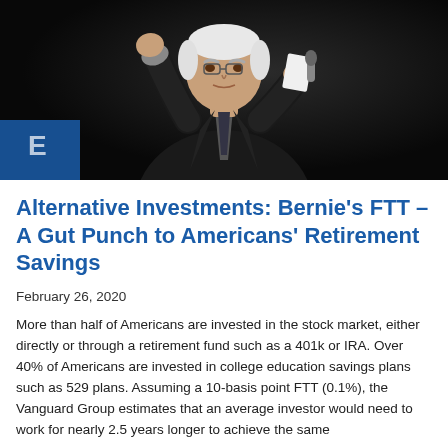[Figure (photo): Older white-haired man in dark suit speaking at a podium, holding a microphone in one hand and raising a fist with the other, photographed against a dark background. A blue sign is partially visible in the lower left.]
Alternative Investments: Bernie's FTT – A Gut Punch to Americans' Retirement Savings
February 26, 2020
More than half of Americans are invested in the stock market, either directly or through a retirement fund such as a 401k or IRA. Over 40% of Americans are invested in college education savings plans such as 529 plans. Assuming a 10-basis point FTT (0.1%), the Vanguard Group estimates that an average investor would need to work for nearly 2.5 years longer to achieve the same